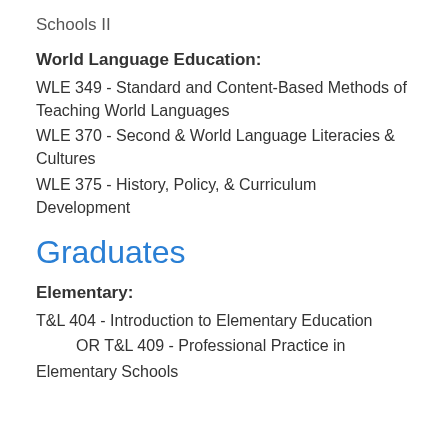Schools II
World Language Education:
WLE 349 - Standard and Content-Based Methods of Teaching World Languages
WLE 370 - Second & World Language Literacies & Cultures
WLE 375 - History, Policy, & Curriculum Development
Graduates
Elementary:
T&L 404 - Introduction to Elementary Education
OR T&L 409 - Professional Practice in Elementary Schools